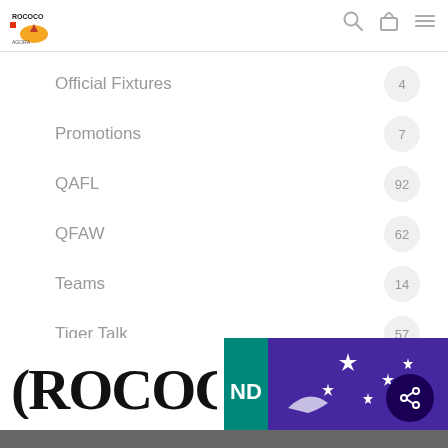ROCOCO AGORA — header navigation bar with logo, search, bag, and menu icons
Official Fixtures 4
Promotions 7
QAFL 92
QFAW 62
Teams 14
Tiger Talk 57
Uncategorized 6
Vacancies 6
[Figure (screenshot): Bottom banner showing ROCOCO logo text in black on white and a purple/teal magazine panel with Southern Cross and bird imagery; dark navy share button overlay]
Dark footer bar